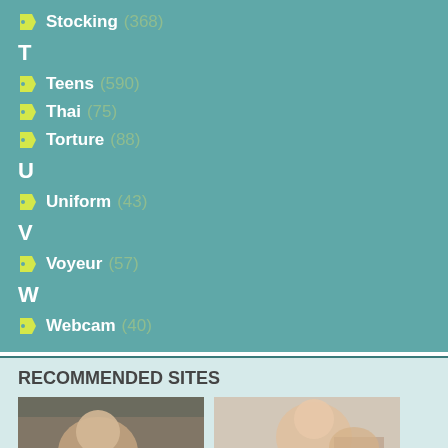Stocking (368)
T
Teens (590)
Thai (75)
Torture (88)
U
Uniform (43)
V
Voyeur (57)
W
Webcam (40)
RECOMMENDED SITES
[Figure (photo): Thumbnail image 1]
[Figure (photo): Thumbnail image 2]